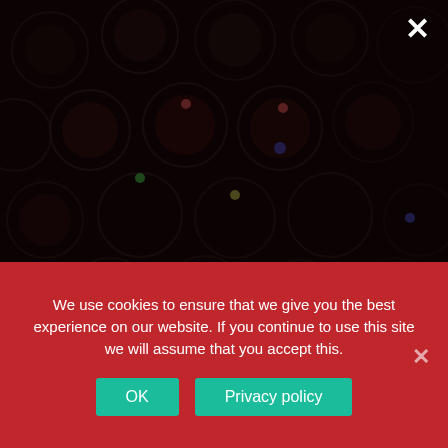[Figure (photo): Dark overlay photo of many wine glasses arranged on a table, viewed from above, with colorful tags/markers on them.]
We use cookies to ensure that we give you the best experience on our website. If you continue to use this site we will assume that you accept this.
OK
Privacy policy